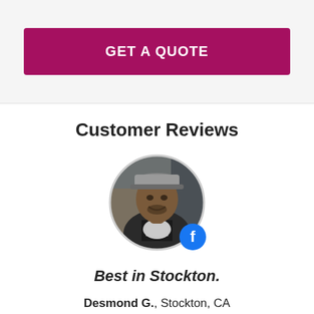GET A QUOTE
Customer Reviews
[Figure (photo): Circular profile photo of a man smiling, wearing a gray cap and dark hoodie with text, with a Facebook badge icon overlaid at bottom right]
Best in Stockton.
Desmond G., Stockton, CA